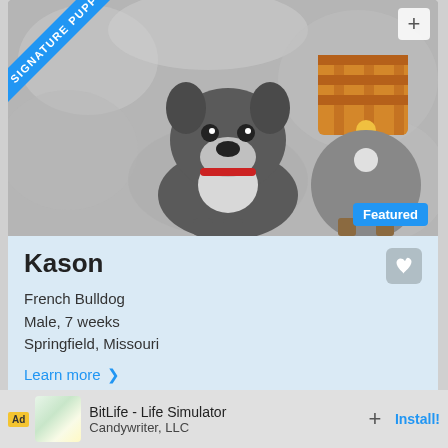[Figure (photo): A French Bulldog puppy sitting on a fluffy gray blanket next to a gnome plush toy with a plaid hat. There is a blue diagonal ribbon banner in the top-left corner reading SIGNATURE PUPPY, a + button in the top-right, and a Featured badge in the bottom-right of the image.]
Kason
French Bulldog
Male, 7 weeks
Springfield, Missouri
Learn more ❯
*Payments as low as $117.87 / mo
[Figure (photo): Partial view of a second puppy listing card at the bottom of the screen, with a blue SIGNATURE PUPPY ribbon visible.]
Ad  BitLife - Life Simulator
Candywriter, LLC
Install!